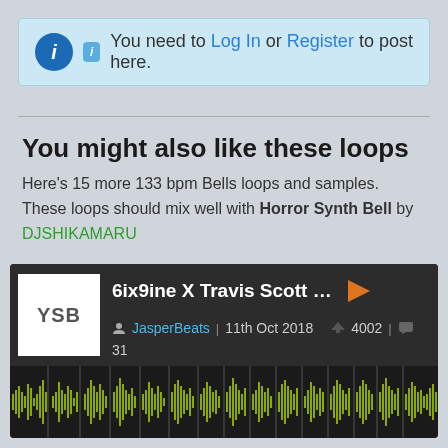You need to Log In or Register to post here.
You might also like these loops
Here's 15 more 133 bpm Bells loops and samples. These loops should mix well with Horror Synth Bell by DJSHIKAMARU
[Figure (screenshot): Loop card for '6ix9ine X Travis Scott Type Melody...' by JasperBeats, 11th Oct 2018, 4002 downloads, 31 comments, with waveform display]